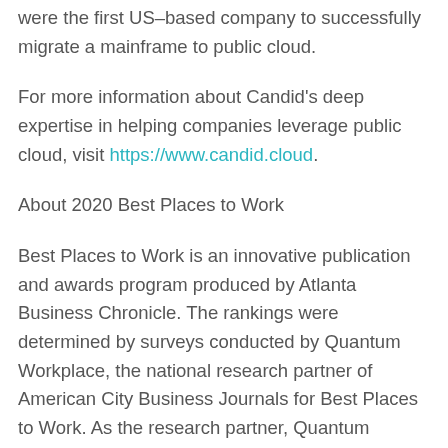were the first US-based company to successfully migrate a mainframe to public cloud.
For more information about Candid's deep expertise in helping companies leverage public cloud, visit https://www.candid.cloud.
About 2020 Best Places to Work
Best Places to Work is an innovative publication and awards program produced by Atlanta Business Chronicle. The rankings were determined by surveys conducted by Quantum Workplace, the national research partner of American City Business Journals for Best Places to Work. As the research partner, Quantum Workplace oversees all